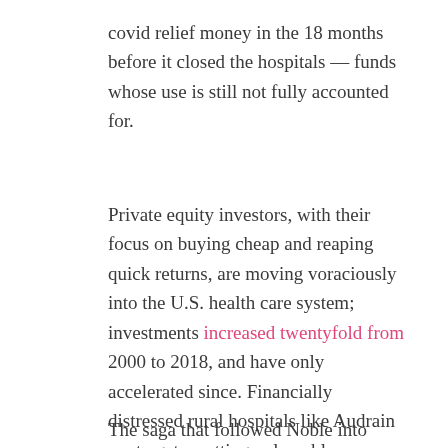covid relief money in the 18 months before it closed the hospitals — funds whose use is still not fully accounted for.
Private equity investors, with their focus on buying cheap and reaping quick returns, are moving voraciously into the U.S. health care system; investments increased twentyfold from 2000 to 2018, and have only accelerated since. Financially distressed rural hospitals like Audrain are targets, putting vulnerable communities at the mercy of firms whose North Star is profit, rather than patient health. A recent report found that 441, more than 20%, were at risk of closing or losing services.
The saga that followed Noble into these towns may